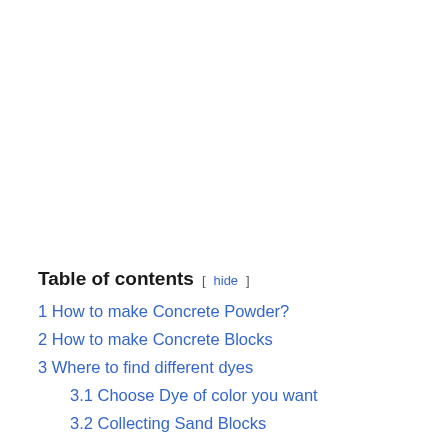Table of contents [ hide ]
1 How to make Concrete Powder?
2 How to make Concrete Blocks
3 Where to find different dyes
3.1 Choose Dye of color you want
3.2 Collecting Sand Blocks